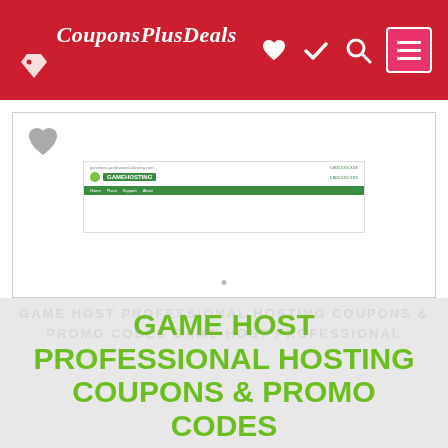CouponsPlusDeals
[Figure (screenshot): Screenshot of Game Host Professional Hosting website with green logo and navigation bar]
GAME HOST PROFESSIONAL HOSTING COUPONS & PROMO CODES
TOP COUPONS
Verified